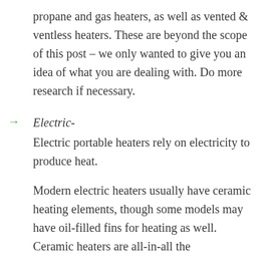propane and gas heaters, as well as vented & ventless heaters. These are beyond the scope of this post – we only wanted to give you an idea of what you are dealing with. Do more research if necessary.
Electric- Electric portable heaters rely on electricity to produce heat.
Modern electric heaters usually have ceramic heating elements, though some models may have oil-filled fins for heating as well. Ceramic heaters are all-in-all the